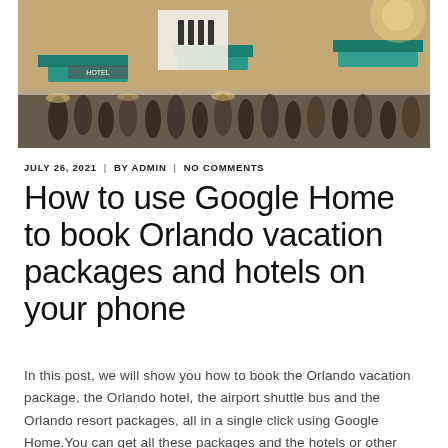[Figure (photo): Crowded outdoor market or tourist area with people, colorful awnings (teal/green), buildings with signs, and palm trees in the background. Warm sunny scene with a busy street atmosphere.]
JULY 26, 2021  |  BY ADMIN  |  NO COMMENTS
How to use Google Home to book Orlando vacation packages and hotels on your phone
In this post, we will show you how to book the Orlando vacation package, the Orlando hotel, the airport shuttle bus and the Orlando resort packages, all in a single click using Google Home.You can get all these packages and the hotels or other items with just a single Google Home click.We will show how [...]